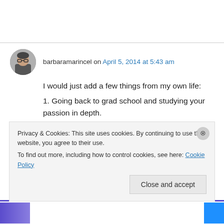barbaramarincel on April 5, 2014 at 5:43 am
I would just add a few things from my own life:
1. Going back to grad school and studying your passion in depth.
2. Being married to you best friend, whose smile still makes you go weak at the knees after ten
Privacy & Cookies: This site uses cookies. By continuing to use this website, you agree to their use. To find out more, including how to control cookies, see here: Cookie Policy